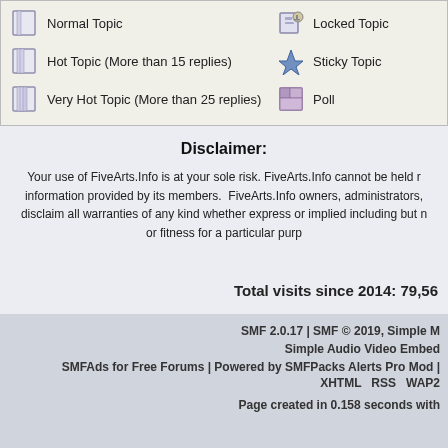Normal Topic
Locked Topic
Hot Topic (More than 15 replies)
Sticky Topic
Very Hot Topic (More than 25 replies)
Poll
Disclaimer:
Your use of FiveArts.Info is at your sole risk. FiveArts.Info cannot be held responsible for the information provided by its members. FiveArts.Info owners, administrators, and moderators disclaim all warranties of any kind whether express or implied including but not limited to merchantability or fitness for a particular purpose.
Total visits since 2014: 79,56
SMF 2.0.17 | SMF © 2019, Simple Machines | Simple Audio Video Embedder | SMFAds for Free Forums | Powered by SMFPacks Alerts Pro Mod | XHTML RSS WAP2 | Page created in 0.158 seconds with